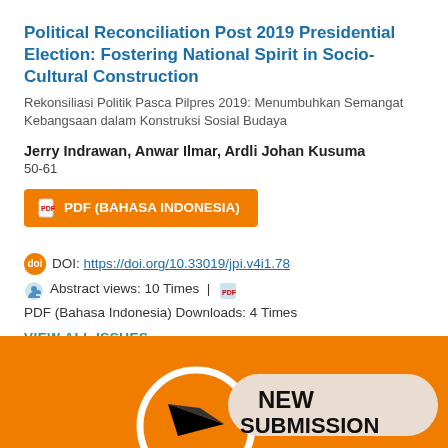Political Reconciliation Post 2019 Presidential Election: Fostering National Spirit in Socio-Cultural Construction
Rekonsiliasi Politik Pasca Pilpres 2019: Menumbuhkan Semangat Kebangsaan dalam Konstruksi Sosial Budaya
Jerry Indrawan, Anwar Ilmar, Ardli Johan Kusuma
50-61
PDF (BAHASA INDONESIA)
DOI: https://doi.org/10.33019/jpi.v4i1.78
Abstract views: 10 Times | PDF (Bahasa Indonesia) Downloads: 4 Times
VIEW ALL ISSUES
[Figure (infographic): Orange circular badge with paper plane icon and 'NEW SUBMISSION' text on a rounded rectangle banner]